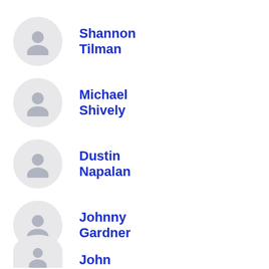Shannon Tilman
Michael Shively
Dustin Napalan
Johnny Gardner
John